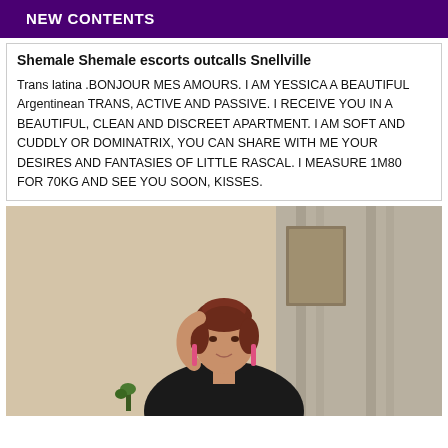NEW CONTENTS
Shemale Shemale escorts outcalls Snellville
Trans latina .BONJOUR MES AMOURS. I AM YESSICA A BEAUTIFUL Argentinean TRANS, ACTIVE AND PASSIVE. I RECEIVE YOU IN A BEAUTIFUL, CLEAN AND DISCREET APARTMENT. I AM SOFT AND CUDDLY OR DOMINATRIX, YOU CAN SHARE WITH ME YOUR DESIRES AND FANTASIES OF LITTLE RASCAL. I MEASURE 1M80 FOR 70KG AND SEE YOU SOON, KISSES.
[Figure (photo): Woman with reddish-brown hair posing in front of curtains, wearing a dark top and pink earrings]